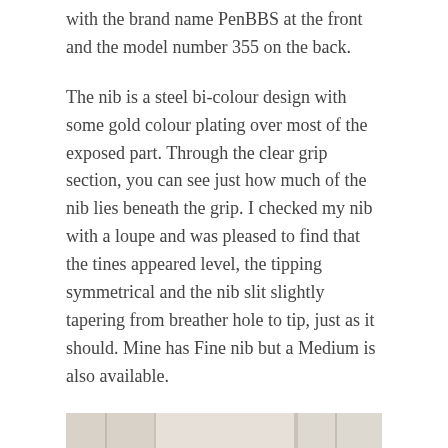with the brand name PenBBS at the front and the model number 355 on the back.
The nib is a steel bi-colour design with some gold colour plating over most of the exposed part. Through the clear grip section, you can see just how much of the nib lies beneath the grip. I checked my nib with a loupe and was pleased to find that the tines appeared level, the tipping symmetrical and the nib slit slightly tapering from breather hole to tip, just as it should. Mine has Fine nib but a Medium is also available.
[Figure (photo): Close-up photograph of a fountain pen (PenBBS 355) with gold-coloured nib, resting against a light-coloured surface or packaging box.]